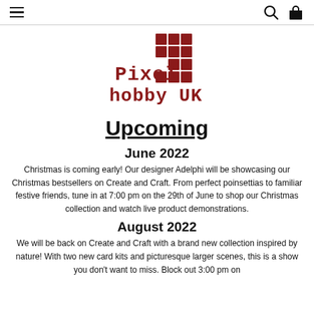Navigation bar with hamburger menu, search icon, and bag icon
[Figure (logo): Pixel Hobby UK logo with red pixel grid squares and red pixel-art text reading 'Pixel hobby UK']
Upcoming
June 2022
Christmas is coming early! Our designer Adelphi will be showcasing our Christmas bestsellers on Create and Craft. From perfect poinsettias to familiar festive friends, tune in at 7:00 pm on the 29th of June to shop our Christmas collection and watch live product demonstrations.
August 2022
We will be back on Create and Craft with a brand new collection inspired by nature! With two new card kits and picturesque larger scenes, this is a show you don't want to miss. Block out 3:00 pm on